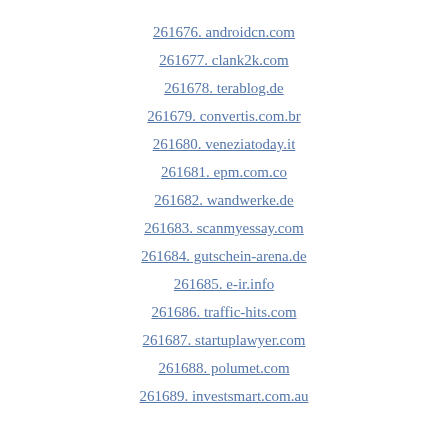261676. androidcn.com
261677. clank2k.com
261678. terablog.de
261679. convertis.com.br
261680. veneziatoday.it
261681. epm.com.co
261682. wandwerke.de
261683. scanmyessay.com
261684. gutschein-arena.de
261685. e-ir.info
261686. traffic-hits.com
261687. startuplawyer.com
261688. polumet.com
261689. investsmart.com.au